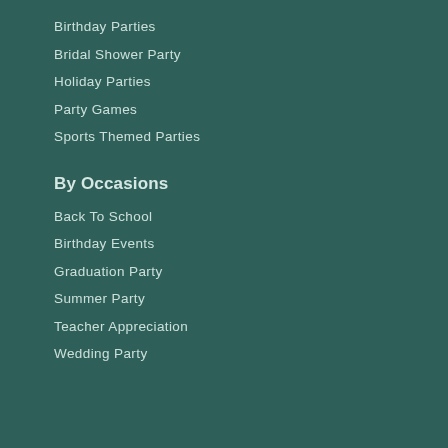Birthday Parties
Bridal Shower Party
Holiday Parties
Party Games
Sports Themed Parties
By Occasions
Back To School
Birthday Events
Graduation Party
Summer Party
Teacher Appreciation
Wedding Party